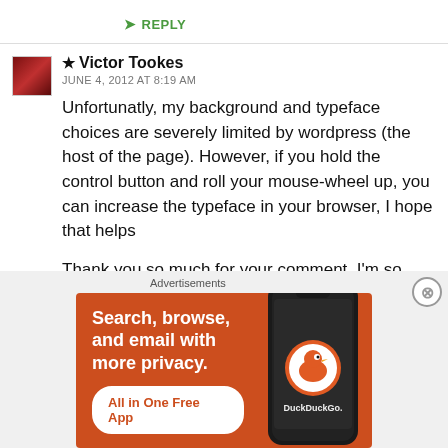↳ REPLY
★ Victor Tookes
JUNE 4, 2012 AT 8:19 AM

Unfortunatly, my background and typeface choices are severely limited by wordpress (the host of the page). However, if you hold the control button and roll your mouse-wheel up, you can increase the typeface in your browser, I hope that helps

Thank you so much for your comment, I'm so glad you enjoyed my novels!
[Figure (infographic): DuckDuckGo advertisement banner: orange background, text 'Search, browse, and email with more privacy. All in One Free App', phone image on right side with DuckDuckGo logo]